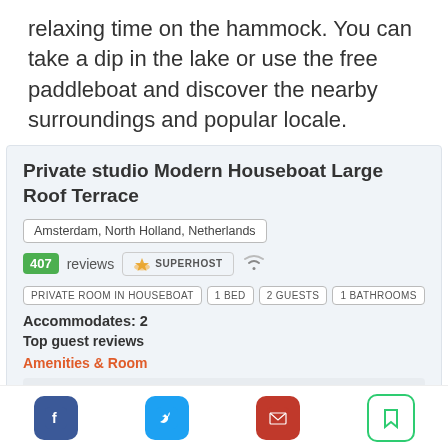relaxing time on the hammock. You can take a dip in the lake or use the free paddleboat and discover the nearby surroundings and popular locale.
Private studio Modern Houseboat Large Roof Terrace
Amsterdam, North Holland, Netherlands
407 reviews  SUPERHOST  [wifi icon]
PRIVATE ROOM IN HOUSEBOAT  1 BED  2 GUESTS  1 BATHROOMS
Accommodates: 2
Top guest reviews
Amenities & Room
[Figure (infographic): Explore Amsterdam button overlay]
ace room loved the balcony and super comfortable
[Figure (infographic): Social media icons row: Facebook, Twitter, Email, Bookmark]